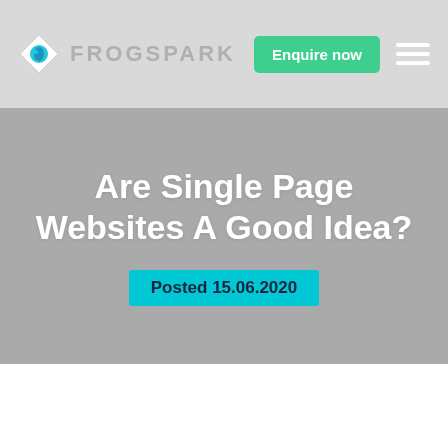FROGSPARK — Enquire now
Are Single Page Websites A Good Idea?
Posted 15.06.2020